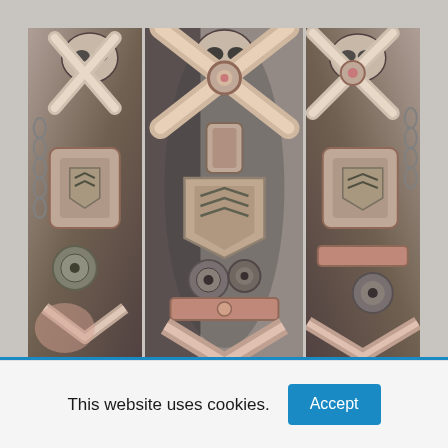[Figure (photo): Three side-by-side photographs of a biomechanical tattoo sleeve on a person's arm, showing intricate mechanical designs including gears, skulls, chains, armor-like plating, and cross/X shapes rendered in black-and-gray with pink/flesh tones. The three images appear to show the same tattoo from slightly different angles or the tattoo wrapping around the arm.]
This website uses cookies.
Accept